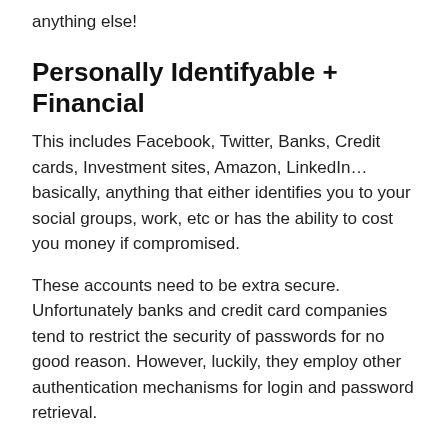anything else!
Personally Identifyable + Financial
This includes Facebook, Twitter, Banks, Credit cards, Investment sites, Amazon, LinkedIn... basically, anything that either identifies you to your social groups, work, etc or has the ability to cost you money if compromised.
These accounts need to be extra secure. Unfortunately banks and credit card companies tend to restrict the security of passwords for no good reason. However, luckily, they employ other authentication mechanisms for login and password retrieval.
Now you might think, “What? You treat Facebook with the same password security requirement as your bank?” But I assure you, that doesn’t mean I let my bank password slip, it means I keep my Facebook password strong. It’s bad for